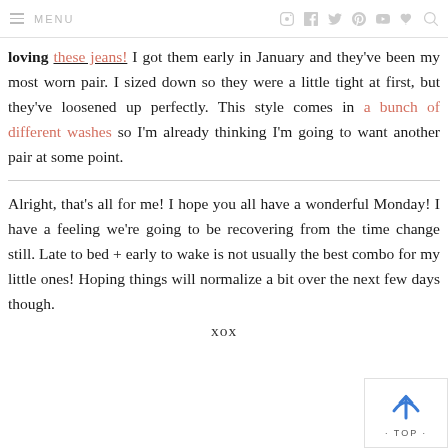≡ MENU
loving these jeans! I got them early in January and they've been my most worn pair. I sized down so they were a little tight at first, but they've loosened up perfectly. This style comes in a bunch of different washes so I'm already thinking I'm going to want another pair at some point.
Alright, that's all for me! I hope you all have a wonderful Monday! I have a feeling we're going to be recovering from the time change still. Late to bed + early to wake is not usually the best combo for my little ones! Hoping things will normalize a bit over the next few days though.
xox